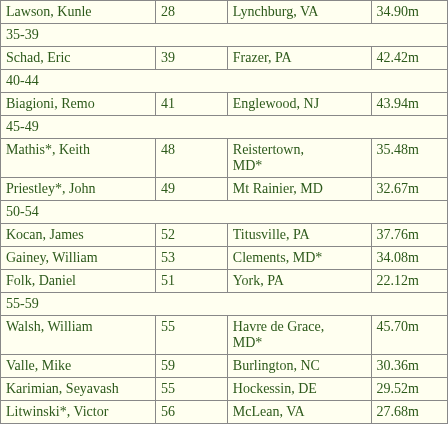| Name | Age | City/State | Result |
| --- | --- | --- | --- |
| Lawson, Kunle | 28 | Lynchburg, VA | 34.90m |
| 35-39 |  |  |  |
| Schad, Eric | 39 | Frazer, PA | 42.42m |
| 40-44 |  |  |  |
| Biagioni, Remo | 41 | Englewood, NJ | 43.94m |
| 45-49 |  |  |  |
| Mathis*, Keith | 48 | Reistertown, MD* | 35.48m |
| Priestley*, John | 49 | Mt Rainier, MD | 32.67m |
| 50-54 |  |  |  |
| Kocan, James | 52 | Titusville, PA | 37.76m |
| Gainey, William | 53 | Clements, MD* | 34.08m |
| Folk, Daniel | 51 | York, PA | 22.12m |
| 55-59 |  |  |  |
| Walsh, William | 55 | Havre de Grace, MD* | 45.70m |
| Valle, Mike | 59 | Burlington, NC | 30.36m |
| Karimian, Seyavash | 55 | Hockessin, DE | 29.52m |
| Litwinski*, Victor | 56 | McLean, VA | 27.68m |